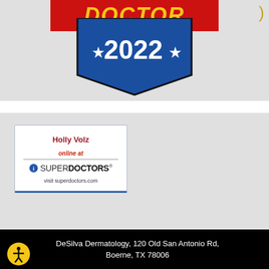[Figure (logo): Super Doctor 2022 badge — red ribbon banner at top with 'DOCTOR' in gold italic text, blue pentagon shield below with '★ 2022 ★' in white text, gold arc element top right]
[Figure (logo): SuperDoctors card widget: 'Holly Volz' in red, 'online at' in italic red, horizontal divider, SuperDoctors logo with blue info icon, 'visit superdoctors.com' in gray]
DeSilva Dermatology, 120 Old San Antonio Rd, Boerne, TX 78006